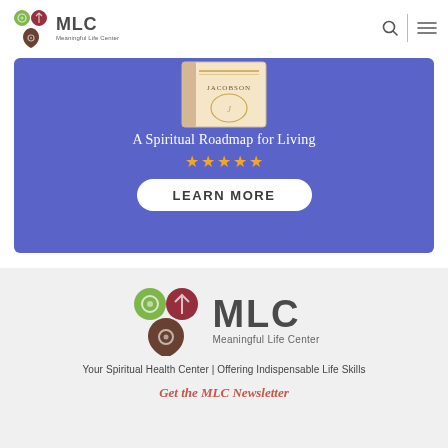MLC Meaningful Life Center
[Figure (illustration): Blue promotional banner showing a book with 'Jacobson' on spine, text 'A Spiritual Roadmap for Living', five gold stars, and a white 'LEARN MORE' button]
[Figure (logo): MLC Meaningful Life Center logo — three leaf/teardrop shapes in green, dark red, and brown-dark, with 'MLC Meaningful Life Center' in dark gray serif lettering]
Your Spiritual Health Center | Offering Indispensable Life Skills
Get the MLC Newsletter